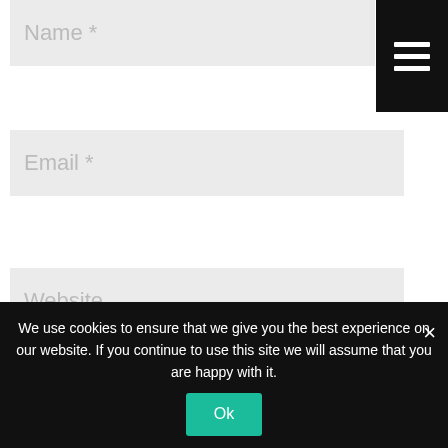[Figure (screenshot): Web form with Name, Email, Website input fields, a hamburger menu icon in the top-right corner, a checkbox for saving browser info, a Submit Comment button, and a cookie consent banner at the bottom with an Ok button.]
Name *
Email *
Website
Save my name, email, and website in this browser for the next time I comment.
Submit Comment
We use cookies to ensure that we give you the best experience on our website. If you continue to use this site we will assume that you are happy with it.
Ok